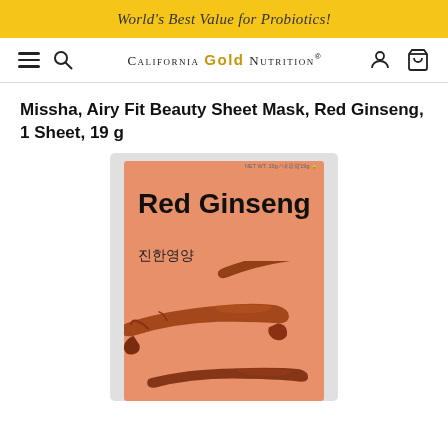World's Best Value for Probiotics!
[Figure (logo): California Gold Nutrition logo with hamburger menu, search icon, user icon, and cart icon navigation bar]
Missha, Airy Fit Beauty Sheet Mask, Red Ginseng, 1 Sheet, 19 g
[Figure (photo): Missha Airy Fit Beauty Sheet Mask Red Ginseng product packaging showing salmon/pink card with 'Red Ginseng' in bold black text and Korean characters '진한영양', with red ginseng root illustrations on salmon background, inside a light gray outer packaging]